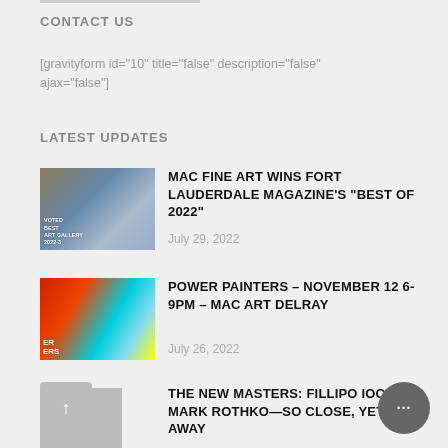CONTACT US
[gravityform id="10" title="false" description="false" ajax="false"]
LATEST UPDATES
[Figure (photo): Thumbnail image of art gallery with 'Voted Best Art Gallery 2022' overlay text]
MAC FINE ART WINS FORT LAUDERDALE MAGAZINE'S “BEST OF 2022”
July 29, 2022
[Figure (photo): Colorful abstract painting thumbnail with red, yellow and blue colors; text overlay 'ER ERS']
POWER PAINTERS – NOVEMBER 12 6-9PM – MAC ART DELRAY
July 26, 2022
[Figure (photo): Gray placeholder thumbnail image]
THE NEW MASTERS: FILLIPO IOCO A... MARK ROTHKO—SO CLOSE, YET SO F... AWAY